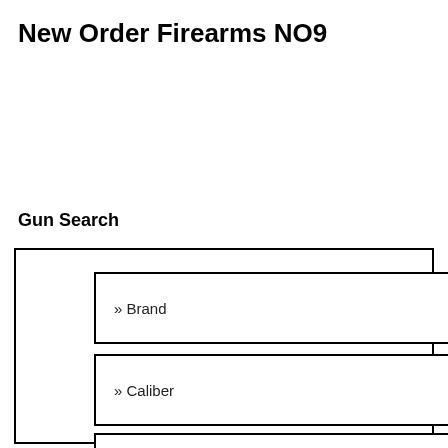New Order Firearms NO9
Gun Search
[Figure (screenshot): Gun Search form with three dropdown fields: Brand, Caliber, and Frame Size, each with a dropdown arrow, enclosed in a bordered rectangle.]